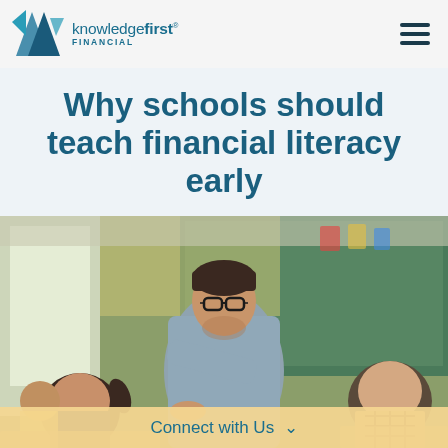knowledgefirst FINANCIAL
Why schools should teach financial literacy early
[Figure (photo): A male teacher with glasses leaning over to assist young elementary school students in a classroom with a green chalkboard in the background]
Connect with Us